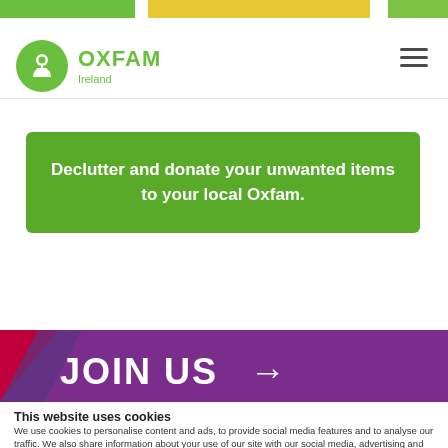[Figure (illustration): Top colorful banner with green, yellow, and green segments]
[Figure (logo): Oxfam Ireland logo — green circle with person icon, OXFAM in green bold text, Ireland in green below]
Declutter and donate your unwanted items to your local Oxfam.
[Figure (illustration): Purple JOIN US banner with red and purple triangles on the left and white JOIN US text with arrow]
This website uses cookies
We use cookies to personalise content and ads, to provide social media features and to analyse our traffic. We also share information about your use of our site with our social media, advertising and analytics partners who may